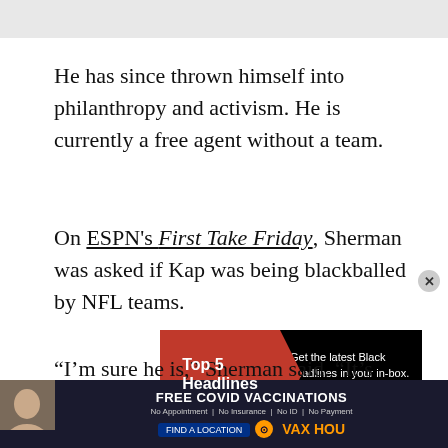He has since thrown himself into philanthropy and activism. He is currently a free agent without a team.
On ESPN's First Take Friday, Sherman was asked if Kap was being blackballed by NFL teams.
[Figure (infographic): Advertisement banner: 'Top 5 Headlines' on dark red background with arrow shape, beside text 'Get the latest Black headlines in your in-box. Sign Up' on black background.]
“I’m sure he is,” Sherman said. “It’s difficult to
[Figure (infographic): Advertisement for FREE COVID VACCINATIONS showing a woman's face and text: No Appointment | No Insurance | No ID | No Payment. FIND A LOCATION. VAX HOU logo.]